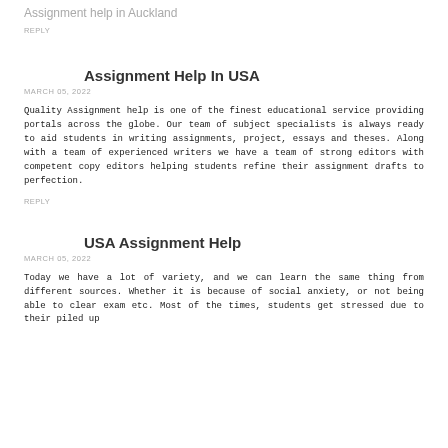Assignment help in Auckland
REPLY
Assignment Help In USA
MARCH 05, 2022
Quality Assignment help is one of the finest educational service providing portals across the globe. Our team of subject specialists is always ready to aid students in writing assignments, project, essays and theses. Along with a team of experienced writers we have a team of strong editors with competent copy editors helping students refine their assignment drafts to perfection.
REPLY
USA Assignment Help
MARCH 05, 2022
Today we have a lot of variety, and we can learn the same thing from different sources. Whether it is because of social anxiety, or not being able to clear exam etc. Most of the times, students get stressed due to their piled up